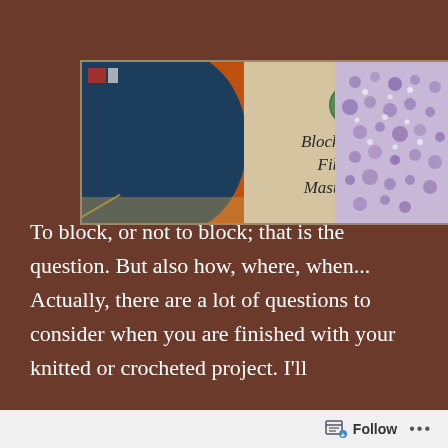[Figure (illustration): Website banner for 'Blocking Your Fibre Art Masterpieces'. Left panel shows an orange crescent shape against a dark blue background. Center panel has a parchment background with a green circular logo and the text 'Blocking Your Fibre Art Masterpieces' in an italic serif font. Right panel shows a purple lace knitted shawl.]
To block, or not to block; that is the question. But also how, where, when... Actually, there are a lot of questions to consider when you are finished with your knitted or crocheted project. I'll
Follow ...